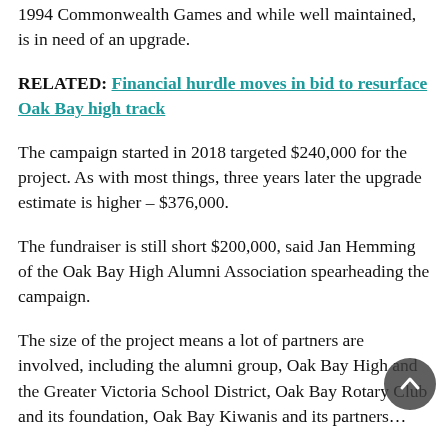1994 Commonwealth Games and while well maintained, is in need of an upgrade.
RELATED: Financial hurdle moves in bid to resurface Oak Bay high track
The campaign started in 2018 targeted $240,000 for the project. As with most things, three years later the upgrade estimate is higher – $376,000.
The fundraiser is still short $200,000, said Jan Hemming of the Oak Bay High Alumni Association spearheading the campaign.
The size of the project means a lot of partners are involved, including the alumni group, Oak Bay High and the Greater Victoria School District, Oak Bay Rotary Club and its foundation, Oak Bay Kiwanis and its partners…